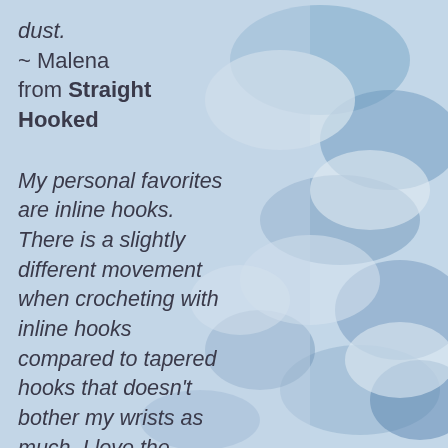dust.
~ Malena
from Straight Hooked
My personal favorites are inline hooks. There is a slightly different movement when crocheting with inline hooks compared to tapered hooks that doesn't bother my wrists as much. I love the deeper throat as well since it grabs the yarn better–I can